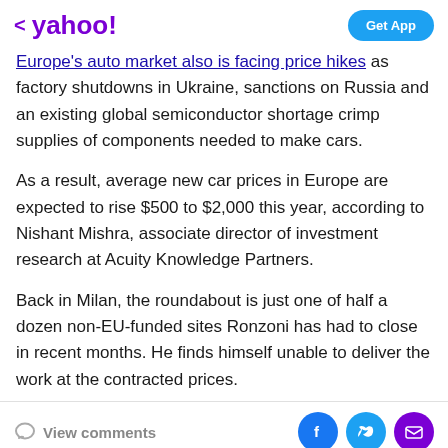< yahoo!  Get App
Europe's auto market also is facing price hikes as factory shutdowns in Ukraine, sanctions on Russia and an existing global semiconductor shortage crimp supplies of components needed to make cars.
As a result, average new car prices in Europe are expected to rise $500 to $2,000 this year, according to Nishant Mishra, associate director of investment research at Acuity Knowledge Partners.
Back in Milan, the roundabout is just one of half a dozen non-EU-funded sites Ronzoni has had to close in recent months. He finds himself unable to deliver the work at the contracted prices.
View comments  [Facebook] [Twitter] [Email]